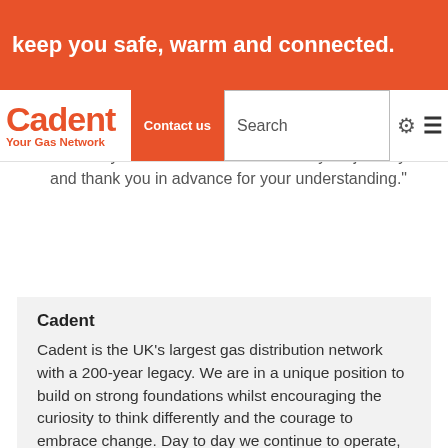keep you safe, warm and connected.
[Figure (logo): Cadent Gas Network logo with orange wordmark and tagline 'Your Gas Network']
"We are very mindful that this is a busy road, so will do everything we can to get the work done quickly – but safely. Please allow extra time for your journeys and thank you in advance for your understanding."
Cadent
Cadent is the UK's largest gas distribution network with a 200-year legacy.  We are in a unique position to build on strong foundations whilst encouraging the curiosity to think differently and the courage to embrace change.  Day to day we continue to operate, maintain and innovate